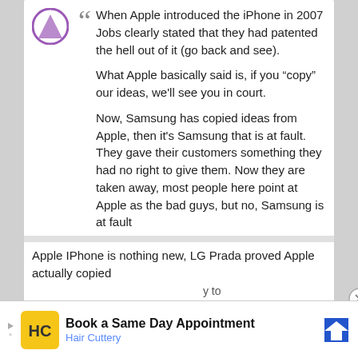When Apple introduced the iPhone in 2007 Jobs clearly stated that they had patented the hell out of it (go back and see).

What Apple basically said is, if you “copy” our ideas, we'll see you in court.

Now, Samsung has copied ideas from Apple, then it's Samsung that is at fault. They gave their customers something they had no right to give them. Now they are taken away, most people here point at Apple as the bad guys, but no, Samsung is at fault
Apple IPhone is nothing new, LG Prada proved Apple actually copied
Book a Same Day Appointment
Hair Cuttery